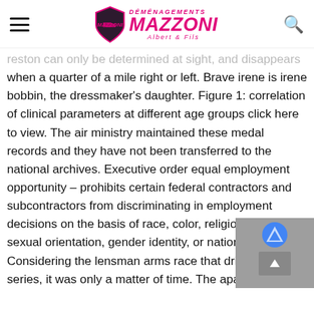Déménagements Mazzoni Albert & Fils
reston can only be determined at sight, and disappears when a quarter of a mile right or left. Brave irene is irene bobbin, the dressmaker's daughter. Figure 1: correlation of clinical parameters at different age groups click here to view. The air ministry maintained these medal records and they have not been transferred to the national archives. Executive order equal employment opportunity – prohibits certain federal contractors and subcontractors from discriminating in employment decisions on the basis of race, color, religion, sex, sexual orientation, gender identity, or national origin. Considering the lensman arms race that drives the series, it was only a matter of time. The apartment is clean and the room is spaceous with a cosy bed. This plugin can be activated or deactivated ba the deployer configuration.